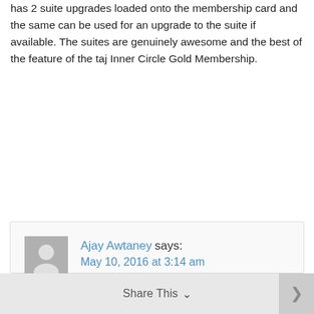has 2 suite upgrades loaded onto the membership card and the same can be used for an upgrade to the suite if available. The suites are genuinely awesome and the best of the feature of the taj Inner Circle Gold Membership.
Reply
Ajay Awtaney says: May 10, 2016 at 3:14 am
@Jaydeep all I receive is two upgrade certificates which are not for suites. Anyhow, I don't mind this one! Cheers!
Share This  ×